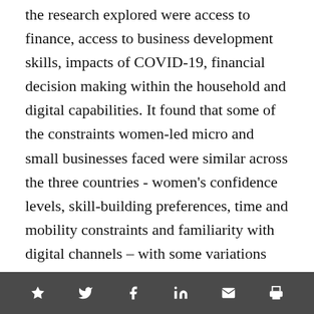the research explored were access to finance, access to business development skills, impacts of COVID-19, financial decision making within the household and digital capabilities. It found that some of the constraints women-led micro and small businesses faced were similar across the three countries - women's confidence levels, skill-building preferences, time and mobility constraints and familiarity with digital channels – with some variations around the specific terms of the products.
[social share icons: star, twitter, facebook, linkedin, email, print]